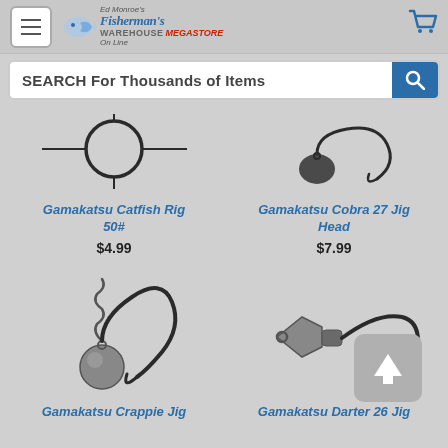[Figure (screenshot): Fisherman's Warehouse Megastore online store header with hamburger menu, logo, and cart icon]
SEARCH For Thousands of Items
Gamakatsu Catfish Rig 50#
$4.99
Gamakatsu Cobra 27 Jig Head
$7.99
[Figure (photo): Gamakatsu Crappie Jig product image showing a jig head with hook and coil keeper]
Gamakatsu Crappie Jig
[Figure (photo): Gamakatsu Darter 26 Jig product image showing a dart head jig with hook]
Gamakatsu Darter 26 Jig